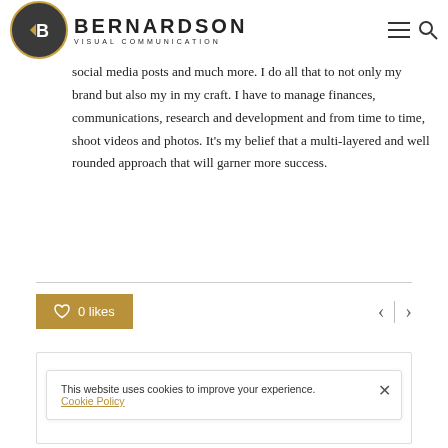BERNARDSON VISUAL COMMUNICATION
I'm a creative entrepreneur. On a daily bases I produce, edit, network, schedule meetings, write blogs, brainstorm, schedule social media posts and much more. I do all that to not only my brand but also my in my craft. I have to manage finances, communications, research and development and from time to time, shoot videos and photos. It's my belief that a multi-layered and well rounded approach that will garner more success.
0 likes
This website uses cookies to improve your experience. Cookie Policy
Categories